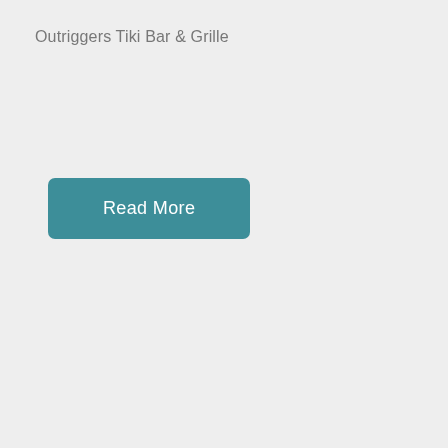Outriggers Tiki Bar & Grille
Read More